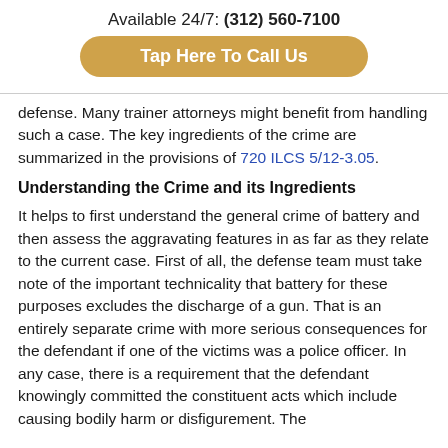Available 24/7: (312) 560-7100
Tap Here To Call Us
defense. Many trainer attorneys might benefit from handling such a case. The key ingredients of the crime are summarized in the provisions of 720 ILCS 5/12-3.05.
Understanding the Crime and its Ingredients
It helps to first understand the general crime of battery and then assess the aggravating features in as far as they relate to the current case. First of all, the defense team must take note of the important technicality that battery for these purposes excludes the discharge of a gun. That is an entirely separate crime with more serious consequences for the defendant if one of the victims was a police officer. In any case, there is a requirement that the defendant knowingly committed the constituent acts which include causing bodily harm or disfigurement. The